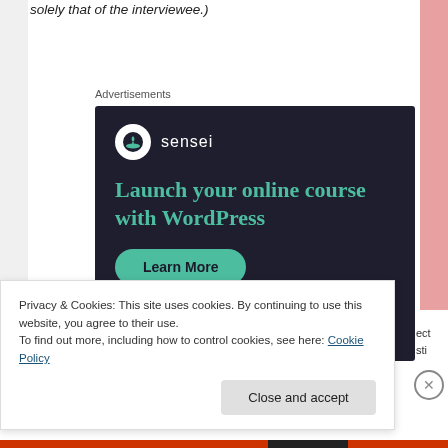solely that of the interviewee.)
Advertisements
[Figure (screenshot): Sensei advertisement with dark navy background. Shows Sensei logo (tree icon in white circle), text 'Launch your online course with WordPress' in teal/green serif font, and a green 'Learn More' rounded button.]
Privacy & Cookies: This site uses cookies. By continuing to use this website, you agree to their use.
To find out more, including how to control cookies, see here: Cookie Policy
Close and accept